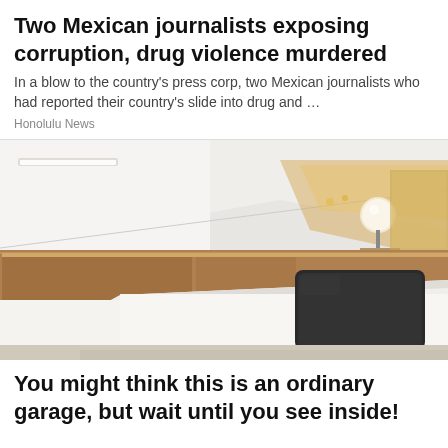Two Mexican journalists exposing corruption, drug violence murdered
In a blow to the country's press corp, two Mexican journalists who had reported their country's slide into drug and …
Honolulu News
[Figure (photo): Interior photo of a minimalist bedroom with a white bed, dark pillow, wooden headboard/cabinet, slanted ceiling with spotlights and a round lamp, white walls.]
You might think this is an ordinary garage, but wait until you see inside!